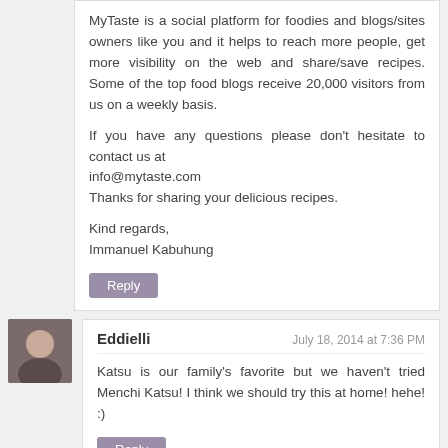MyTaste is a social platform for foodies and blogs/sites owners like you and it helps to reach more people, get more visibility on the web and share/save recipes. Some of the top food blogs receive 20,000 visitors from us on a weekly basis.

If you have any questions please don't hesitate to contact us at
info@mytaste.com
Thanks for sharing your delicious recipes.

Kind regards,
Immanuel Kabuhung
Reply
Eddielli
July 18, 2014 at 7:36 PM
Katsu is our family's favorite but we haven't tried Menchi Katsu! I think we should try this at home! hehe! :)
Reply